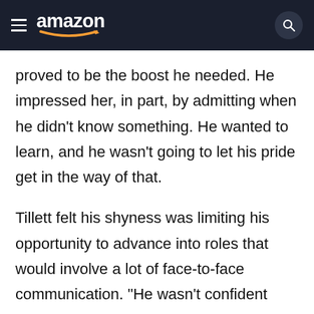amazon
proved to be the boost he needed. He impressed her, in part, by admitting when he didn't know something. He wanted to learn, and he wasn't going to let his pride get in the way of that.
Tillett felt his shyness was limiting his opportunity to advance into roles that would involve a lot of face-to-face communication. "He wasn't confident enough to step out of his comfort zone," she said. So she assigned him to duties where he needed to direct as many as 40